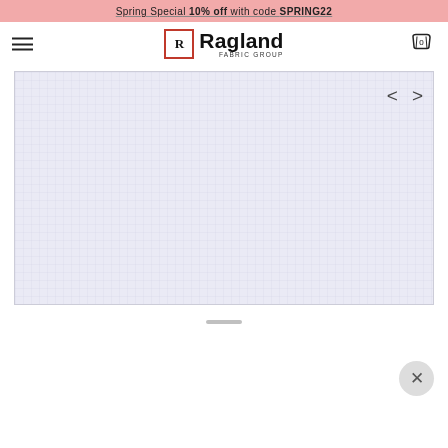Spring Special 10% off with code SPRING22
[Figure (logo): Ragland Fabric Group logo with stylized R in a box and bold Ragland text]
[Figure (photo): Light blue-white fabric with subtle grid/check texture pattern shown in image viewer with left/right navigation arrows]